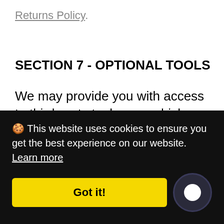Returns Policy.
SECTION 7 - OPTIONAL TOOLS
We may provide you with access to third-party tools over which we neither monitor nor have any control nor input.
You acknowledge and agree that we provide access to such tools "as is" and “as available” without any warranties, representations or
🍪 This website uses cookies to ensure you get the best experience on our website.  Learn more
Got it!